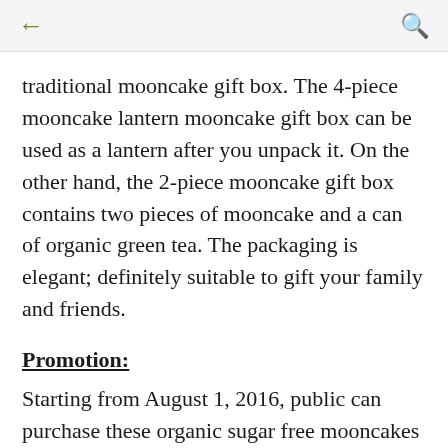← 🔍
traditional mooncake gift box. The 4-piece mooncake lantern mooncake gift box can be used as a lantern after you unpack it. On the other hand, the 2-piece mooncake gift box contains two pieces of mooncake and a can of organic green tea. The packaging is elegant; definitely suitable to gift your family and friends.
Promotion:
Starting from August 1, 2016, public can purchase these organic sugar free mooncakes